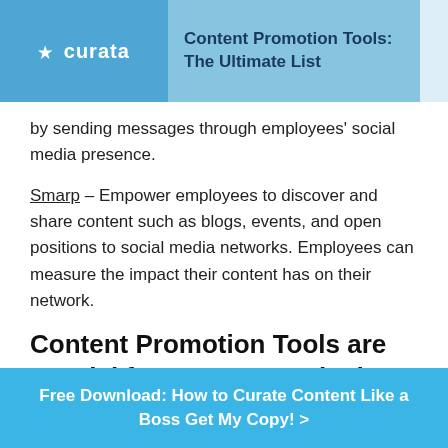curata | Content Promotion Tools: The Ultimate List
by sending messages through employees' social media presence.
Smarp – Empower employees to discover and share content such as blogs, events, and open positions to social media networks. Employees can measure the impact their content has on their network.
Content Promotion Tools are Crucial for Content Marketing
Do you use a tool for content promotion we haven't mentioned here? Let us know in the comments below. If
Free Download: How to Curate Content Like a Boss Get My Copy! >